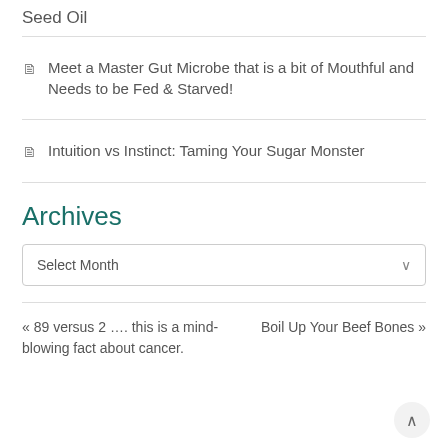Seed Oil
Meet a Master Gut Microbe that is a bit of Mouthful and Needs to be Fed & Starved!
Intuition vs Instinct: Taming Your Sugar Monster
Archives
Select Month
« 89 versus 2 …. this is a mind-blowing fact about cancer.
Boil Up Your Beef Bones »